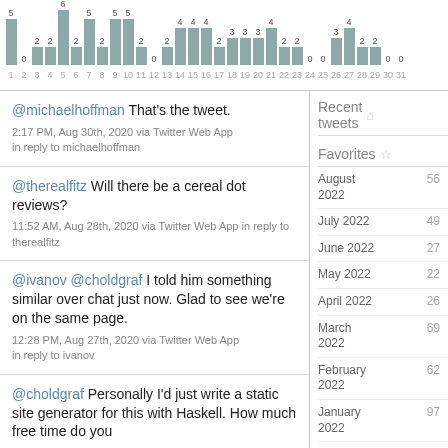[Figure (bar-chart): Tweet activity by day]
@michaelhoffman That's the tweet.
2:17 PM, Aug 30th, 2020 via Twitter Web App in reply to michaelhoffman
@therealfitz Will there be a cereal dot reviews?
11:52 AM, Aug 28th, 2020 via Twitter Web App in reply to therealfitz
@ivanov @choldgraf I told him something similar over chat just now. Glad to see we're on the same page.
12:28 PM, Aug 27th, 2020 via Twitter Web App in reply to ivanov
@choldgraf Personally I'd just write a static site generator for this with Haskell. How much free time do you
Recent tweets
Favorites
August 2022   56
July 2022   49
June 2022   27
May 2022   22
April 2022   26
March 2022   69
February 2022   62
January 2022   97
December 2021